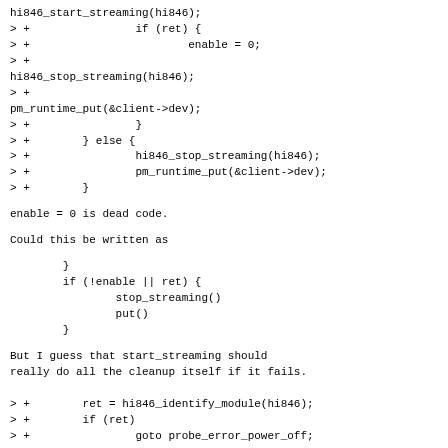hi846_start_streaming(hi846);
> +                if (ret) {
> +                        enable = 0;
> +
hi846_stop_streaming(hi846);
> +
pm_runtime_put(&client->dev);
> +                }
> +        } else {
> +                hi846_stop_streaming(hi846);
> +                pm_runtime_put(&client->dev);
> +        }
enable = 0 is dead code.
Could this be written as
}
        if (!enable || ret) {
                stop_streaming()
                put()
        }
But I guess that start_streaming should
really do all the cleanup itself if it fails.
> +        ret = hi846_identify_module(hi846);
> +        if (ret)
> +                goto probe_error_power_off;